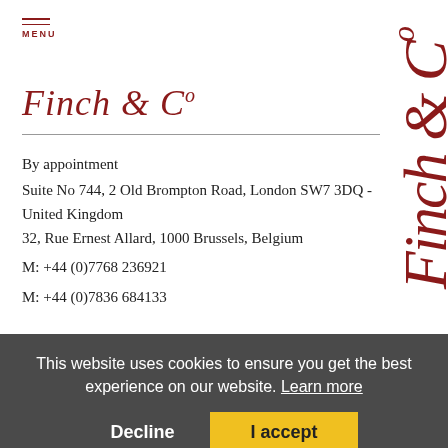MENU
Finch & C°
[Figure (logo): Vertical red italic text reading 'Finch & Co' rotated 90 degrees along right edge]
By appointment
Suite No 744, 2 Old Brompton Road, London SW7 3DQ - United Kingdom
32, Rue Ernest Allard, 1000 Brussels, Belgium
M: +44 (0)7768 236921
M: +44 (0)7836 684133
enquiries@finch-and-co.co.uk
Terms
© Copyright Finch and Co
Website is designed and powered by an solution
This website uses cookies to ensure you get the best experience on our website. Learn more
Decline  I accept